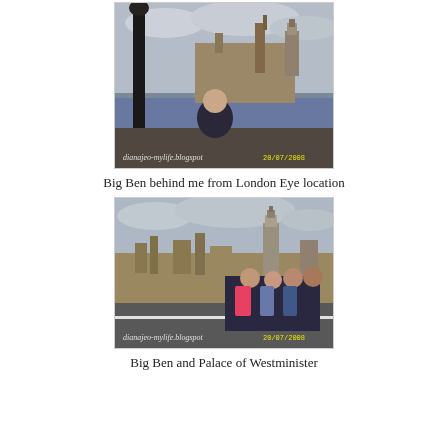[Figure (photo): Person standing in front of Big Ben and Houses of Parliament across the Thames River, viewed from London Eye location. Watermark: dianajeo-mylife.blogspot. Date stamp: 20/07/2008.]
Big Ben behind me from London Eye location
[Figure (photo): Group of people standing on a street with Big Ben and Palace of Westminster in the background. Watermark: dianajeo-mylife.blogspot. Date stamp: 20/07/2008.]
Big Ben and Palace of Westminister